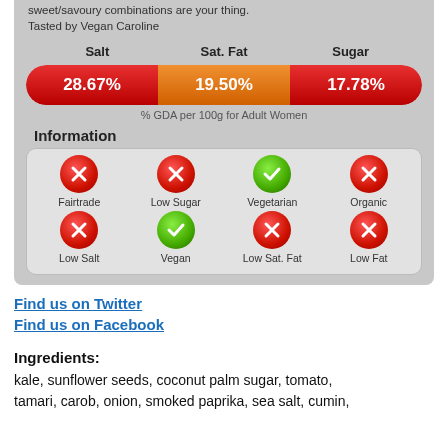sweet/savoury combinations are your thing. Tasted by Vegan Caroline
[Figure (infographic): Nutrition bar showing Salt 28.67%, Sat. Fat 19.50%, Sugar 17.78% as % GDA per 100g for Adult Women, with color-coded pill-shaped bar]
[Figure (infographic): Information grid with icons: Fairtrade (X), Low Sugar (X), Vegetarian (check), Organic (X), Low Salt (X), Vegan (check), Low Sat. Fat (X), Low Fat (X)]
Find us on Twitter
Find us on Facebook
Ingredients:
kale, sunflower seeds, coconut palm sugar, tomato, tamari, carob, onion, smoked paprika, sea salt, cumin,